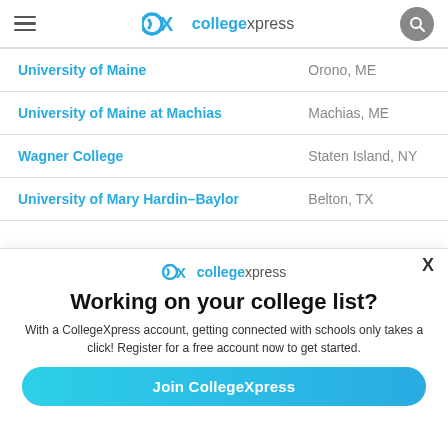CollegeXpress navigation bar with logo and search
| College | Location |
| --- | --- |
| University of Maine | Orono, ME |
| University of Maine at Machias | Machias, ME |
| Wagner College | Staten Island, NY |
| University of Mary Hardin-Baylor | Belton, TX |
[Figure (logo): CollegeXpress logo in modal overlay]
Working on your college list?
With a CollegeXpress account, getting connected with schools only takes a click! Register for a free account now to get started.
Join CollegeXpress